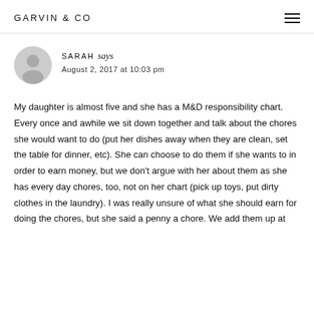GARVIN & CO
SARAH says
August 2, 2017 at 10:03 pm
My daughter is almost five and she has a M&D responsibility chart. Every once and awhile we sit down together and talk about the chores she would want to do (put her dishes away when they are clean, set the table for dinner, etc). She can choose to do them if she wants to in order to earn money, but we don't argue with her about them as she has every day chores, too, not on her chart (pick up toys, put dirty clothes in the laundry). I was really unsure of what she should earn for doing the chores, but she said a penny a chore. We add them up at